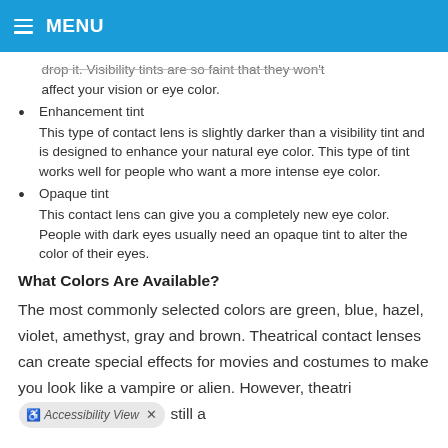MENU
drop it. Visibility tints are so faint that they won't affect your vision or eye color.
Enhancement tint
This type of contact lens is slightly darker than a visibility tint and is designed to enhance your natural eye color. This type of tint works well for people who want a more intense eye color.
Opaque tint
This contact lens can give you a completely new eye color. People with dark eyes usually need an opaque tint to alter the color of their eyes.
What Colors Are Available?
The most commonly selected colors are green, blue, hazel, violet, amethyst, gray and brown. Theatrical contact lenses can create special effects for movies and costumes to make you look like a vampire or alien. However, theatrical contact lenses are still a